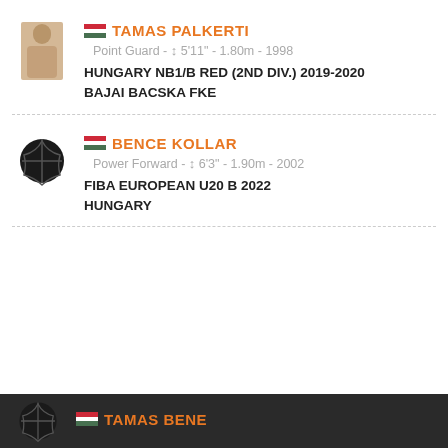[Figure (photo): Player photo thumbnail for Tamas Palkerti]
TAMAS PALKERTI
Point Guard - ↕ 5'11" - 1.80m - 1998
HUNGARY NB1/B RED (2ND DIV.) 2019-2020
BAJAI BACSKA FKE
[Figure (logo): Basketball icon for Bence Kollar]
BENCE KOLLAR
Power Forward - ↕ 6'3" - 1.90m - 2002
FIBA EUROPEAN U20 B 2022
HUNGARY
[Figure (logo): Basketball icon for Tamas Bene]
TAMAS BENE